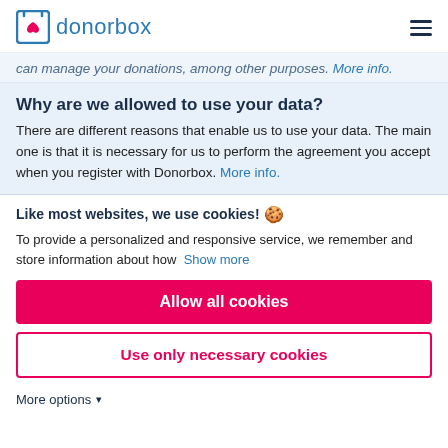[Figure (logo): Donorbox logo: blue square bracket icon with red heart, followed by 'donorbox' in blue text]
can manage your donations, among other purposes. More info.
Why are we allowed to use your data?
There are different reasons that enable us to use your data. The main one is that it is necessary for us to perform the agreement you accept when you register with Donorbox. More info.
Like most websites, we use cookies!
To provide a personalized and responsive service, we remember and store information about how  Show more
Allow all cookies
Use only necessary cookies
More options